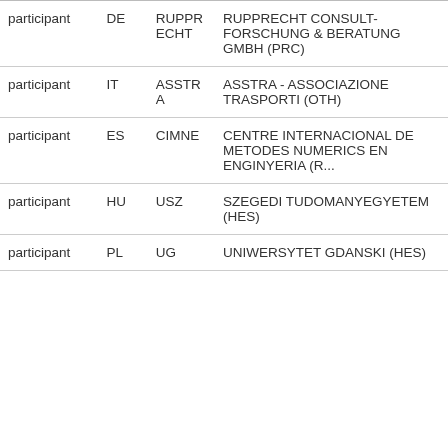| Role | Country | Short Name | Full Name |
| --- | --- | --- | --- |
| participant | DE | RUPPRECHT | RUPPRECHT CONSULT- FORSCHUNG & BERATUNG GMBH (PRC) |
| participant | IT | ASSTRA | ASSTRA - ASSOCIAZIONE TRASPORTI (OTH) |
| participant | ES | CIMNE | CENTRE INTERNACIONAL DE METODES NUMERICS EN ENGINYERIA (R...) |
| participant | HU | USZ | SZEGEDI TUDOMANYEGYETEM (HES) |
| participant | PL | UG | UNIWERSYTET GDANSKI (HES) |